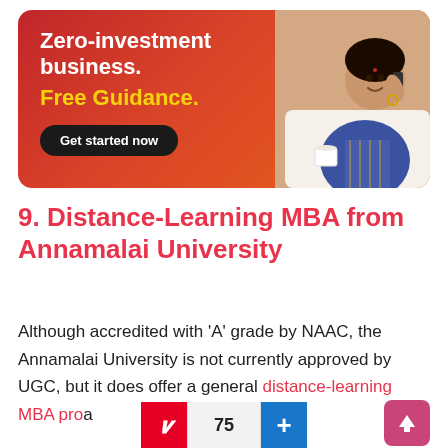[Figure (infographic): Advertisement banner with red-to-orange gradient background. Left side shows white bold text 'Zero-investment business.' with yellow bold text 'Free Guidance.' and a dark 'Get started now' button. Right side shows a woman in a blue sari talking on a phone.]
9. Distance-Learning MBA from Annamalai University
Although accredited with 'A' grade by NAAC, the Annamalai University is not currently approved by UGC, but it does offer a general distance-learning MBA pr[ogram] t[aught in] nglish and T[amil]